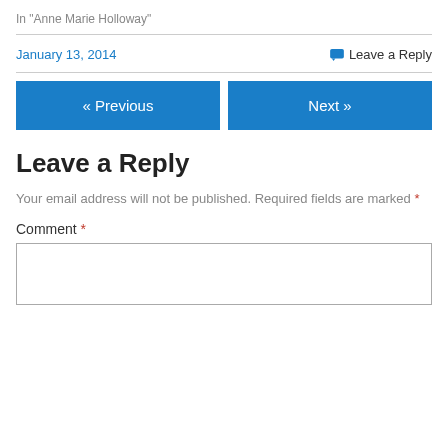In "Anne Marie Holloway"
January 13, 2014
Leave a Reply
« Previous
Next »
Leave a Reply
Your email address will not be published. Required fields are marked *
Comment *